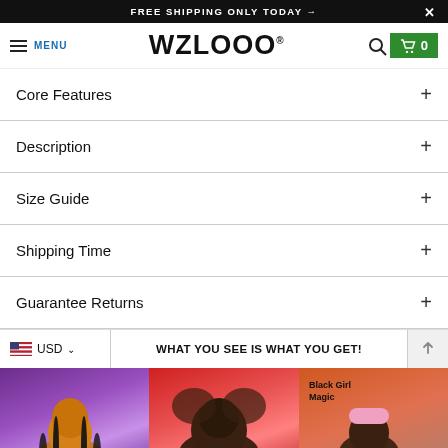FREE SHIPPING ONLY TODAY →
WZLOOO® MENU
Core Features +
Description +
Size Guide +
Shipping Time +
Guarantee Returns +
WHAT YOU SEE IS WHAT YOU GET!
[Figure (photo): Three product photos of illustrated bedding/fabric items featuring Black women artwork. Left: portrait of a woman with long braids on purple background. Center: woman with large afro on red/pink background. Right: 'Black Girl Magic' text with illustrated girl on colorful background.]